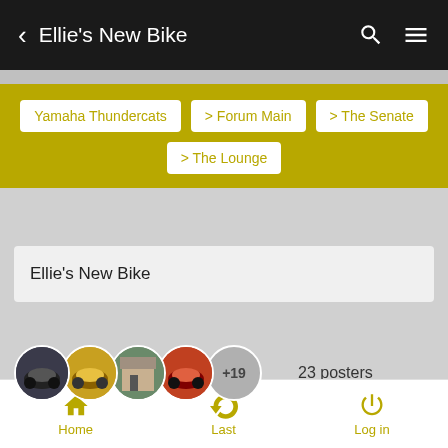< Ellie's New Bike
Yamaha Thundercats
> Forum Main
> The Senate
> The Lounge
Ellie's New Bike
23 posters
Page 3 of 5
Home  Last  Log in